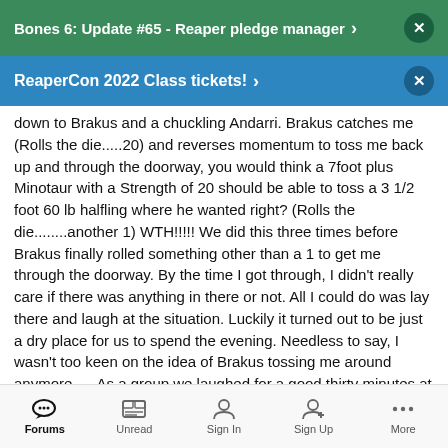Bones 6: Update #65 - Reaper pledge manager
ReaperCon 2022 Class tickets!
down to Brakus and a chuckling Andarri. Brakus catches me (Rolls the die.....20) and reverses momentum to toss me back up and through the doorway, you would think a 7foot plus Minotaur with a Strength of 20 should be able to toss a 3 1/2 foot 60 lb halfling where he wanted right? (Rolls the die........another 1) WTH!!!!! We did this three times before Brakus finally rolled something other than a 1 to get me through the doorway. By the time I got through, I didn't really care if there was anything in there or not. All I could do was lay there and laugh at the situation. Luckily it turned out to be just a dry place for us to spend the evening. Needless to say, I wasn't too keen on the idea of Brakus tossing me around anymore..... As a group we laughed for a good thirty minutes at the absurdity of it all. There were die rolls made for tossing the boat
Forums | Unread | Sign In | Sign Up | More